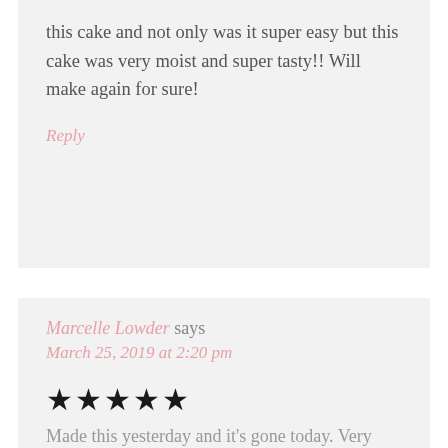this cake and not only was it super easy but this cake was very moist and super tasty!! Will make again for sure!
Reply
Marcelle Lowder says
March 25, 2019 at 2:20 pm
★★★★★
Made this yesterday and it's gone today. Very good cake, moist and